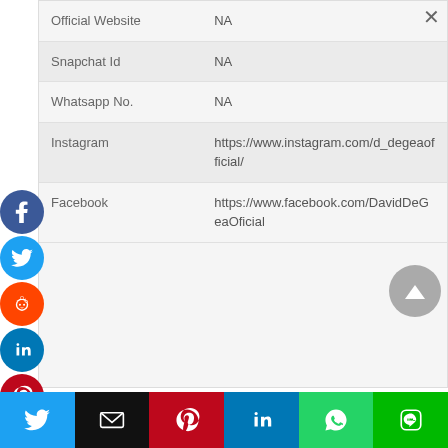| Field | Value |
| --- | --- |
| Official Website | NA |
| Snapchat Id | NA |
| Whatsapp No. | NA |
| Instagram | https://www.instagram.com/d_degeaofficial/ |
| Facebook | https://www.facebook.com/DavidDeGeaOficial |
[Figure (infographic): Social media sharing sidebar icons: Facebook, Twitter, Reddit, LinkedIn, Pinterest, MediaWiki, and a partially visible orange icon]
[Figure (infographic): Bottom sharing bar with Twitter, Email, Pinterest, LinkedIn, WhatsApp, and Line buttons]